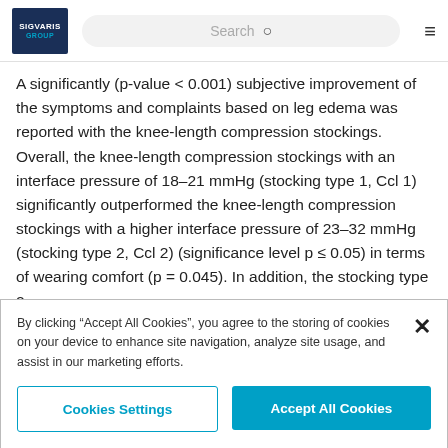SIGVARIS GROUP
A significantly (p-value < 0.001) subjective improvement of the symptoms and complaints based on leg edema was reported with the knee-length compression stockings. Overall, the knee-length compression stockings with an interface pressure of 18–21 mmHg (stocking type 1, Ccl 1) significantly outperformed the knee-length compression stockings with a higher interface pressure of 23–32 mmHg (stocking type 2, Ccl 2) (significance level p ≤ 0.05) in terms of wearing comfort (p = 0.045). In addition, the stocking type 2
By clicking "Accept All Cookies", you agree to the storing of cookies on your device to enhance site navigation, analyze site usage, and assist in our marketing efforts.